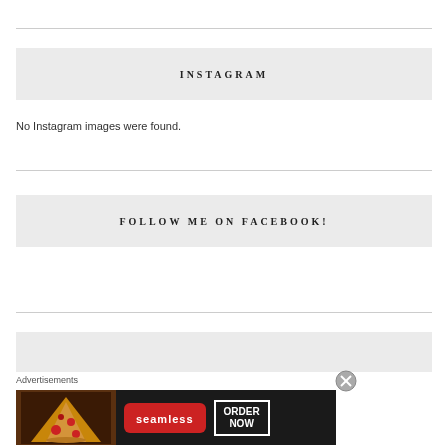INSTAGRAM
No Instagram images were found.
FOLLOW ME ON FACEBOOK!
[Figure (screenshot): Seamless food delivery advertisement banner showing pizza with ORDER NOW button]
Advertisements